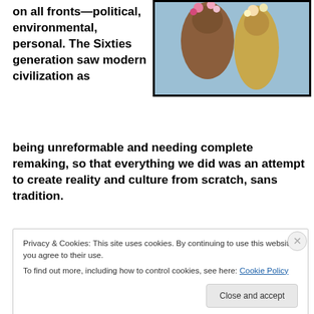on all fronts—political, environmental, personal. The Sixties generation saw modern civilization as being unreformable and needing complete remaking, so that everything we did was an attempt to create reality and culture from scratch, sans tradition.
[Figure (photo): Painting of two figures with flowers, impressionist style with blue background]
[Figure (screenshot): DuckDuckGo app displayed on a smartphone with orange background]
Privacy & Cookies: This site uses cookies. By continuing to use this website, you agree to their use.
To find out more, including how to control cookies, see here: Cookie Policy
Close and accept